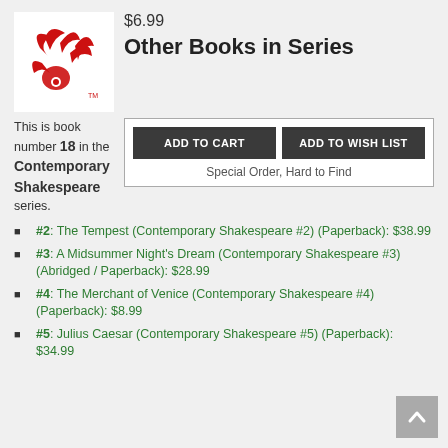[Figure (logo): Red stylized logo of a book/reading figure on white background]
$6.99
Other Books in Series
This is book number 18 in the Contemporary Shakespeare series.
ADD TO CART   ADD TO WISH LIST
Special Order, Hard to Find
#2: The Tempest (Contemporary Shakespeare #2) (Paperback): $38.99
#3: A Midsummer Night's Dream (Contemporary Shakespeare #3) (Abridged / Paperback): $28.99
#4: The Merchant of Venice (Contemporary Shakespeare #4) (Paperback): $8.99
#5: Julius Caesar (Contemporary Shakespeare #5) (Paperback): $34.99